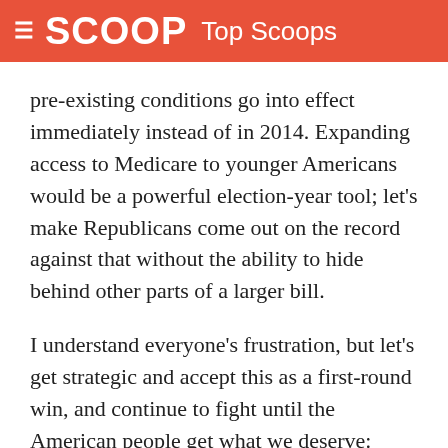SCOOP Top Scoops
pre-existing conditions go into effect immediately instead of in 2014. Expanding access to Medicare to younger Americans would be a powerful election-year tool; let's make Republicans come out on the record against that without the ability to hide behind other parts of a larger bill.
I understand everyone's frustration, but let's get strategic and accept this as a first-round win, and continue to fight until the American people get what we deserve: universal health care delivering as good an outcome at as good a cost as other industrialized countries. Until someone proves me wrong, I believe that means single payer.